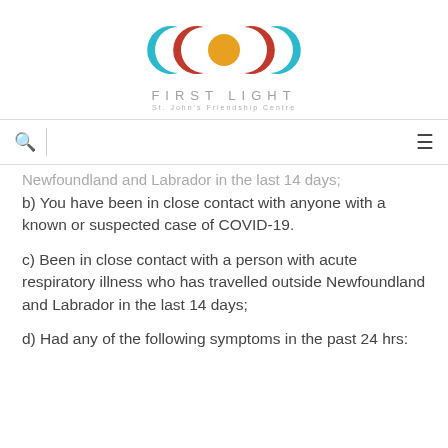[Figure (logo): First Light - St. John's Friendship Centre logo with moon phase symbols in teal, red, and gold]
First Light - St. John's Friendship Centre navigation bar with search and menu icons
Newfoundland and Labrador in the last 14 days;
b) You have been in close contact with anyone with a known or suspected case of COVID-19.
c) Been in close contact with a person with acute respiratory illness who has travelled outside Newfoundland and Labrador in the last 14 days;
d) Had any of the following symptoms in the past 24 hrs: